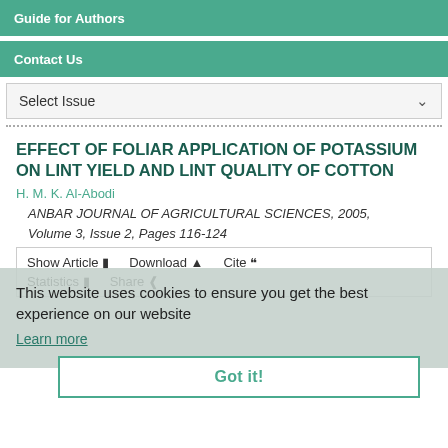Guide for Authors
Contact Us
Select Issue
EFFECT OF FOLIAR APPLICATION OF POTASSIUM ON LINT YIELD AND LINT QUALITY OF COTTON
H. M. K. Al-Abodi
ANBAR JOURNAL OF AGRICULTURAL SCIENCES, 2005, Volume 3, Issue 2, Pages 116-124
This website uses cookies to ensure you get the best experience on our website
Learn more
Show Article  Download  Cite  Statistics  Share
Got it!